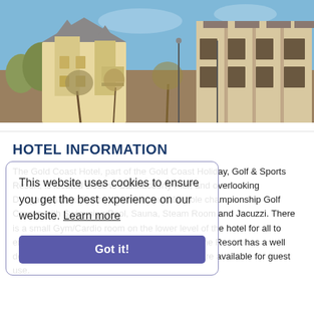[Figure (photo): Photograph of the Gold Coast Hotel resort buildings with cream/beige exterior, distinctive pointed roofs, and bare winter trees in the foreground against a blue sky.]
HOTEL INFORMATION
The Gold Coast Hotel, part of the Gold Coast Holiday, Golf & Sports Resort, is located close to Ballinacourty Pier, and overlooking Dungarvan Bay. The resort has its own 18-hole championship Golf Course with Swimming Pool, Sauna, Steam Room and Jacuzzi. There is a small Gym/Cardio room on the lower level of the hotel for all to enjoy. Free parking is available at the Resort. The Resort has a well designed playground and a tennis court which are available for guest use.
This website uses cookies to ensure you get the best experience on our website. Learn more
Got it!
Limited Wifi available, especially when Holiday Homes are